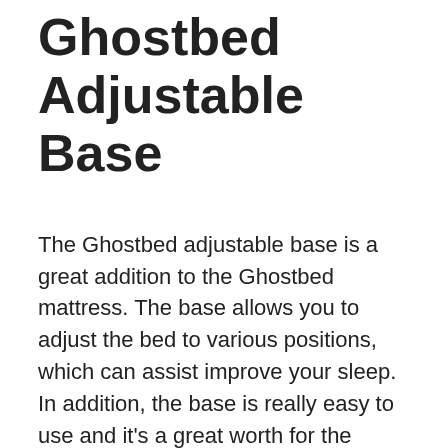Ghostbed Adjustable Base
The Ghostbed adjustable base is a great addition to the Ghostbed mattress. The base allows you to adjust the bed to various positions, which can assist improve your sleep. In addition, the base is really easy to use and it’s a great worth for the price.
If you are searching for a new bed mattress and adjustable base, the Ghostbed is a terrific choice. The combination of the Ghostbed bed mattress and adjustable base will provide you with a comfortable, peaceful sleep.